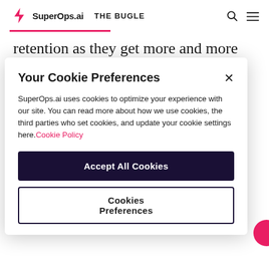SuperOps.ai   THE BUGLE
retention as they get more and more invested in your services.
Your Cookie Preferences
SuperOps.ai uses cookies to optimize your experience with our site. You can read more about how we use cookies, the third parties who set cookies, and update your cookie settings here. Cookie Policy
Accept All Cookies
Cookies Preferences